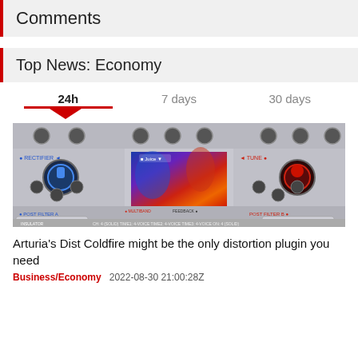Comments
Top News: Economy
24h   7 days   30 days
[Figure (screenshot): Screenshot of Arturia Dist Coldfire distortion plugin interface showing knobs, filters, and a colorful waveform/artwork overlay]
Arturia's Dist Coldfire might be the only distortion plugin you need
Business/Economy   2022-08-30 21:00:28Z